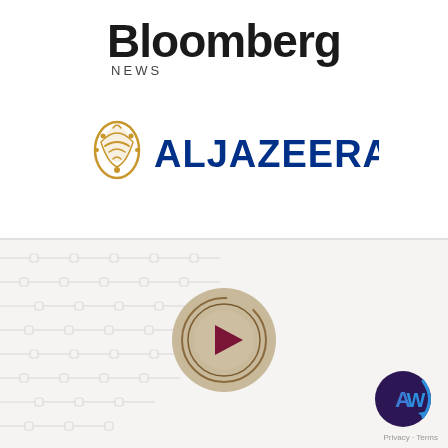[Figure (logo): Bloomberg News logo — 'Bloomberg' in large bold black text, 'NEWS' in small spaced caps below]
[Figure (logo): Al Jazeera logo — Arabic calligraphic emblem in gold/yellow on the left, 'ALJAZEERA' in bold blue uppercase text on the right]
[Figure (other): Bottom section with light gray circuit-board background pattern on the left, and a beige/tan circular play button in the center]
[Figure (logo): Small watermark badge in bottom-right corner with 'AW' initials in blue/dark style and 'Privacy Terms' text below]